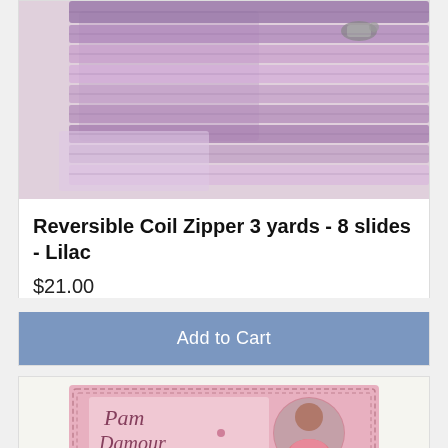[Figure (photo): Photo of lilac/purple reversible coil zipper with multiple slides coiled on a light background]
Reversible Coil Zipper 3 yards - 8 slides - Lilac
$21.00
Add to Cart
[Figure (photo): Photo of Pam Damour Zipper Tape product packaging showing a pink box with rolled zipper tape inside]